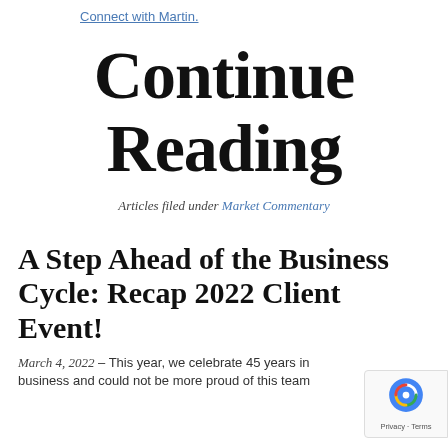Connect with Martin.
Continue Reading
Articles filed under Market Commentary
A Step Ahead of the Business Cycle: Recap 2022 Client Event!
March 4, 2022 – This year, we celebrate 45 years in business and could not be more proud of this team…